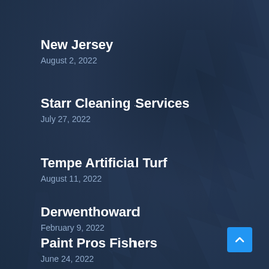[Figure (illustration): Dark navy blue forest background with fir/pine tree silhouettes]
New Jersey
August 2, 2022
Starr Cleaning Services
July 27, 2022
Tempe Artificial Turf
August 11, 2022
Derwenthoward
February 9, 2022
Paint Pros Fishers
June 24, 2022